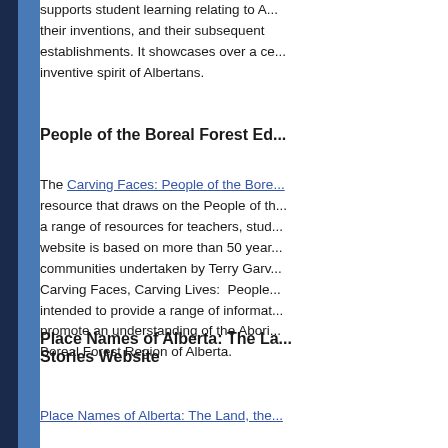supports student learning relating to A... their inventions, and their subsequent establishments. It showcases over a ce... inventive spirit of Albertans.
People of the Boreal Forest Ed...
The Carving Faces: People of the Bore... resource that draws on the People of th... a range of resources for teachers, stud... website is based on more than 50 year... communities undertaken by Terry Garv... Carving Faces, Carving Lives: People... intended to provide a range of informat... promote an understanding of the Abori... Boreal Forest Region of Alberta.
Place Names of Alberta: The La... Stories Website
Place Names of Alberta: The Land, the...